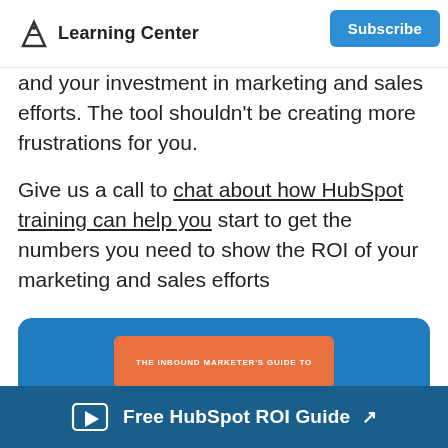Learning Center
and your investment in marketing and sales efforts. The tool shouldn't be creating more frustrations for you.
Give us a call to chat about how HubSpot training can help you start to get the numbers you need to show the ROI of your marketing and sales efforts
[Figure (infographic): Blue promotional card with orange banner showing 'THE INBOUND MARKETER'S GUIDE TO' text, partially visible at the bottom of the page]
Free HubSpot ROI Guide ↗